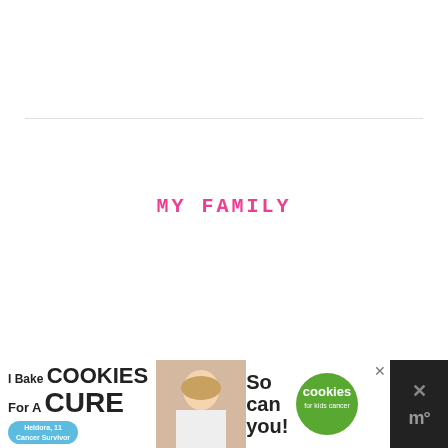MY FAMILY
[Figure (photo): Advertisement banner at bottom: 'I Bake COOKIES For A CURE' with image of a girl holding cookies, green circle badge with 'cookies for kids cancer' logo, text 'So can you!', close button, and site navigation icon. Blue badge reads 'Heldora, 11 Cancer Survivor'.]